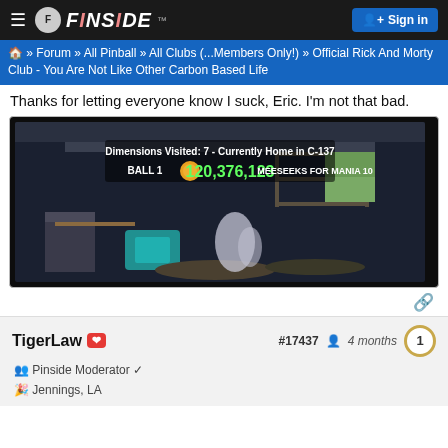FINSIDE  Sign in
» Forum » All Pinball » All Clubs (...Members Only!) » Official Rick And Morty Club - You Are Not Like Other Carbon Based Life
Thanks for letting everyone know I suck, Eric. I'm not that bad.
[Figure (screenshot): Pinball machine display screen showing Rick and Morty themed pinball game. Score displayed: 120,376,123. Text shows: BALL 1, Dimensions Visited: 7 - Currently Home in C-137, MEESEEKS FOR MANIA 10. Background shows animated Rick's garage scene.]
#17437  4 months
TigerLaw
Pinside Moderator
Jennings, LA